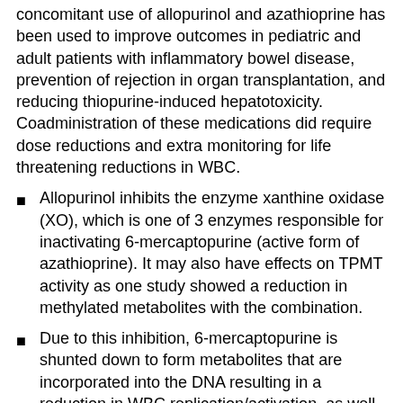concomitant use of allopurinol and azathioprine has been used to improve outcomes in pediatric and adult patients with inflammatory bowel disease, prevention of rejection in organ transplantation, and reducing thiopurine-induced hepatotoxicity.  Coadministration of these medications did require dose reductions and extra monitoring for life threatening reductions in WBC.
Allopurinol inhibits the enzyme xanthine oxidase (XO), which is one of 3 enzymes responsible for inactivating 6-mercaptopurine (active form of azathioprine). It may also have effects on TPMT activity as one study showed a reduction in methylated metabolites with the combination.
Due to this inhibition, 6-mercaptopurine is shunted down to form metabolites that are incorporated into the DNA resulting in a reduction in WBC replication/activation, as well as inhibition of the activity of Rac1 GTP which stimulates apoptosis of WBCs.